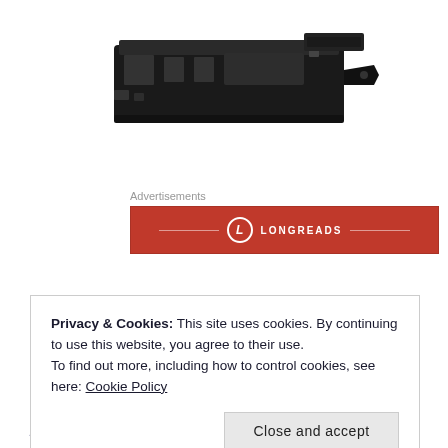[Figure (photo): A dark-colored industrial or printer component/cartridge shown in a product photo on white background]
Advertisements
[Figure (logo): Longreads advertisement banner in red with white Longreads logo and text]
Privacy & Cookies: This site uses cookies. By continuing to use this website, you agree to their use.
To find out more, including how to control cookies, see here: Cookie Policy
Close and accept
precision Linear Guide for heavy and precise cutting to produce collect. Answers are Double Spindle and backing di...